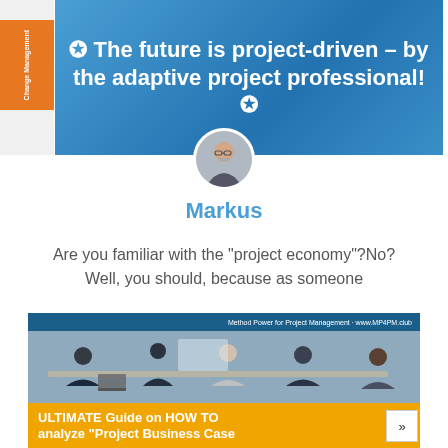[Figure (illustration): Blue banner with bold white text: the future is project-driven – by the adaptive project professional! with star/compass icons]
[Figure (photo): Circular avatar photo of a middle-aged man with glasses and grey beard]
Markus
Are you familiar with the "project economy"?No? Well, you should, because as someone
[Figure (illustration): Book/guide cover card: ULTIMATE Guide on HOW TO analyze "Project Business Case" with a photo of people in a business meeting, dark blue background, orange footer band, and Method Power for Project Management branding]